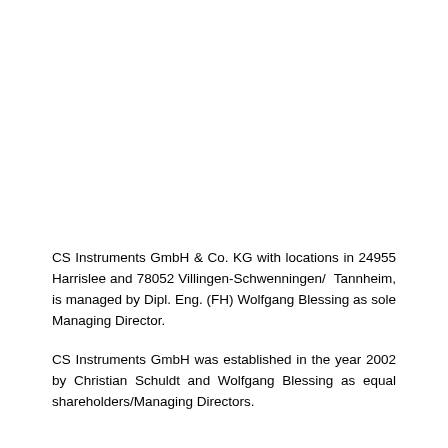CS Instruments GmbH & Co. KG with locations in 24955 Harrislee and 78052 Villingen-Schwenningen/ Tannheim, is managed by Dipl. Eng. (FH) Wolfgang Blessing as sole Managing Director.
CS Instruments GmbH was established in the year 2002 by Christian Schuldt and Wolfgang Blessing as equal shareholders/Managing Directors.